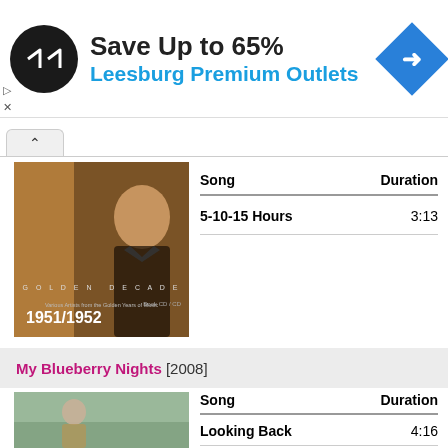[Figure (screenshot): Advertisement banner: black circular logo with infinity-like arrow symbol, text 'Save Up to 65%' in bold black, 'Leesburg Premium Outlets' in blue, and a blue diamond navigation arrow on the right]
[Figure (photo): Album cover for 'Music of My Life' Golden Decade 1951/1952, featuring a man's portrait on brown/golden background]
| Song | Duration |
| --- | --- |
| 5-10-15 Hours | 3:13 |
My Blueberry Nights [2008]
[Figure (photo): Album or movie cover photo showing a person outdoors]
| Song | Duration |
| --- | --- |
| Looking Back | 4:16 |